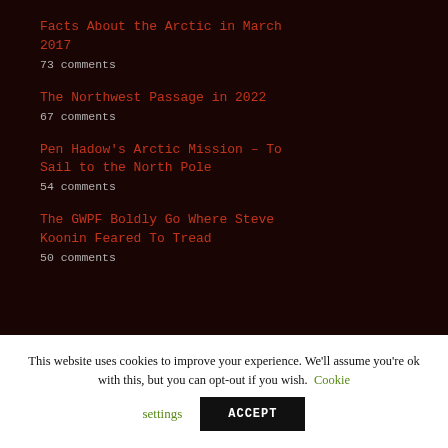Facts About the Arctic in March 2017
73 comments
The Northwest Passage in 2022
67 comments
Pen Hadow's Arctic Mission – To Sail to the North Pole
54 comments
The GWPF Boldly Go Where Steve Koonin Feared To Tread
50 comments
This website uses cookies to improve your experience. We'll assume you're ok with this, but you can opt-out if you wish. Cookie settings ACCEPT